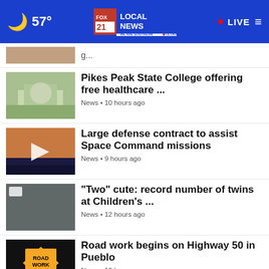57° FOX 21 LOCAL NEWS WE ARE SOUTHERN COLORADO • LIVE
Pikes Peak State College offering free healthcare ... News • 10 hours ago
Large defense contract to assist Space Command missions News • 9 hours ago
"Two" cute: record number of twins at Children's ... News • 12 hours ago
Road work begins on Highway 50 in Pueblo News • 12 hours ago
Doherty High School placed on secure status after ... Local • 13 hours ago
Driver killed after hitting traffic signal pole in ...